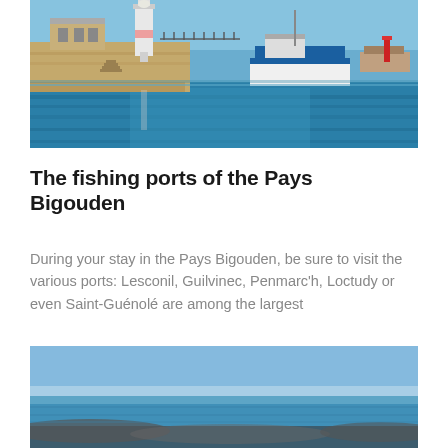[Figure (photo): Harbor scene with a white lighthouse, a blue and white boat, calm water with reflections, and stone pier under blue sky]
The fishing ports of the Pays Bigouden
During your stay in the Pays Bigouden, be sure to visit the various ports: Lesconil, Guilvinec, Penmarc'h, Loctudy or even Saint-Guénolé are among the largest
[Figure (photo): Coastal seascape with bright blue sky, calm sea, and rocky shoreline in the distance; a yellow circular badge with a double checkmark icon overlaid at bottom left]